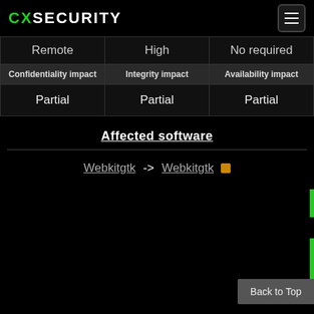CXSECURITY
|  |  |  |
| --- | --- | --- |
| Remote | High | No required |
| Confidentiality impact | Integrity impact | Availability impact |
| Partial | Partial | Partial |
Affected software
Webkitgtk -> Webkitgtk
Back to Top